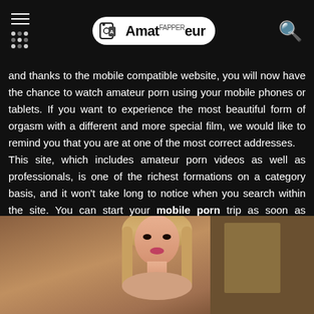Amateur Fapper
and thanks to the mobile compatible website, you will now have the chance to watch amateur porn using your mobile phones or tablets. If you want to experience the most beautiful form of orgasm with a different and more special film, we would like to remind you that you are at one of the most correct addresses.
This site, which includes amateur porn videos as well as professionals, is one of the richest formations on a category basis, and it won't take long to notice when you search within the site. You can start your mobile porn trip as soon as possible. Now it's time to watch porn! To watch the most beautiful porn videos prepared for you, just log in.
[Figure (photo): A young blonde woman photographed indoors]